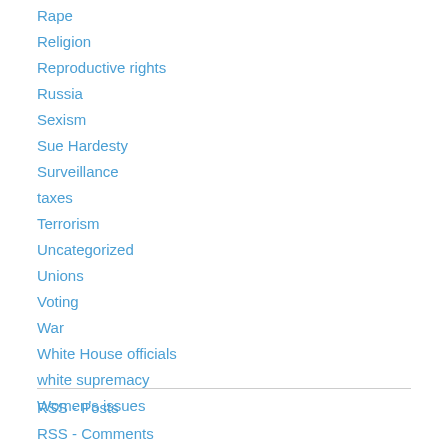Rape
Religion
Reproductive rights
Russia
Sexism
Sue Hardesty
Surveillance
taxes
Terrorism
Uncategorized
Unions
Voting
War
White House officials
white supremacy
Women's issues
RSS - Posts
RSS - Comments